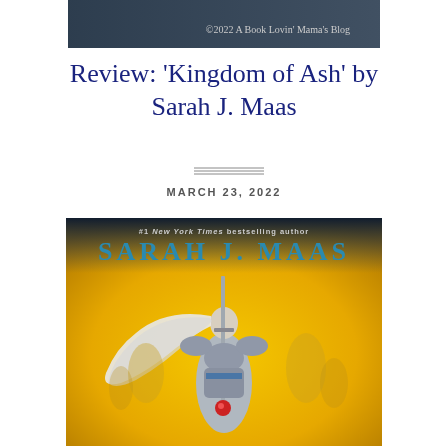[Figure (screenshot): Top portion of a blog post header image showing a dark background with text '©2022 A Book Lovin' Mama's Blog']
Review: 'Kingdom of Ash' by Sarah J. Maas
MARCH 23, 2022
[Figure (illustration): Book cover of 'Kingdom of Ash' by Sarah J. Maas. Shows a female warrior in silver armor holding a sword, with long white hair flowing, against a glowing golden-yellow background. Text at top reads '#1 New York Times bestselling author SARAH J. MAAS']